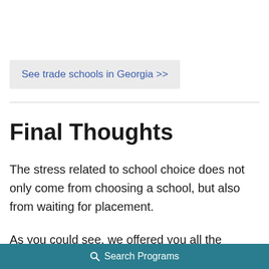See trade schools in Georgia >>
Final Thoughts
The stress related to school choice does not only come from choosing a school, but also from waiting for placement.
As you could see, we offered you all the details and made you familiar with all the admission requirements, so that
Search Programs